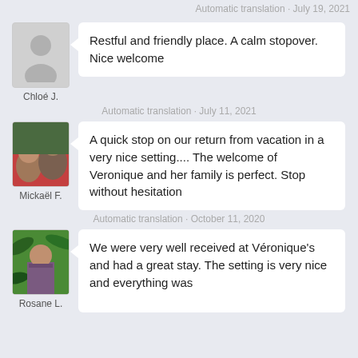Automatic translation · July 19, 2021
[Figure (photo): Default avatar placeholder silhouette for Chloé J.]
Chloé J.
Restful and friendly place. A calm stopover. Nice welcome
Automatic translation · July 11, 2021
[Figure (photo): Photo of Mickaël F. showing a man and a child taking a selfie outdoors.]
Mickaël F.
A quick stop on our return from vacation in a very nice setting.... The welcome of Veronique and her family is perfect. Stop without hesitation
Automatic translation · October 11, 2020
[Figure (photo): Photo of Rosane L., a woman standing outdoors surrounded by tropical plants.]
Rosane L.
We were very well received at Véronique's and had a great stay. The setting is very nice and everything was